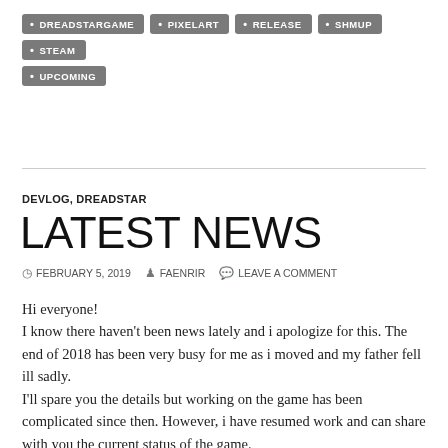DREADSTARGAME  PIXELART  RELEASE  SHMUP  STEAM  UPCOMING
DEVLOG, DREADSTAR
LATEST NEWS
FEBRUARY 5, 2019   FAENRIR   LEAVE A COMMENT
Hi everyone!
I know there haven't been news lately and i apologize for this. The end of 2018 has been very busy for me as i moved and my father fell ill sadly.
I'll spare you the details but working on the game has been complicated since then. However, i have resumed work and can share with you the current status of the game.